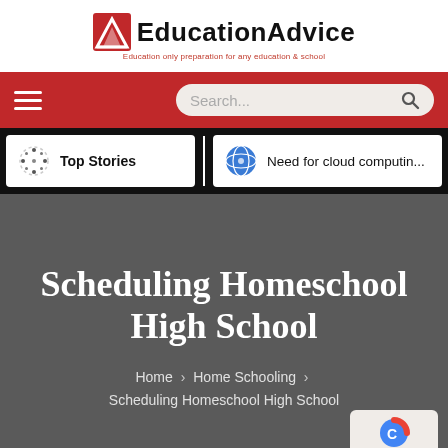EducationAdvice — Education only preparation for any education & school
[Figure (screenshot): Red navigation bar with hamburger menu icon on left and search box on right]
Top Stories | Need for cloud computin...
Scheduling Homeschool High School
Home > Home Schooling > Scheduling Homeschool High School